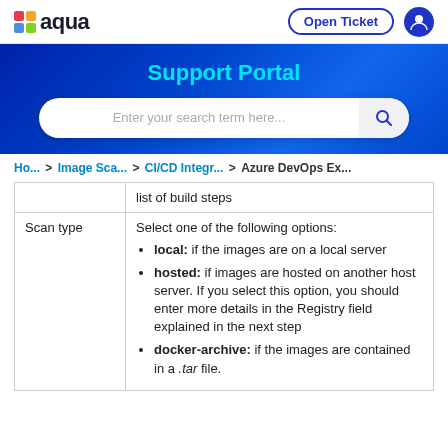aqua  Open Ticket [user icon]
Support Portal
Enter your search term here...
Ho... > Image Sca... > CI/CD Integr... > Azure DevOps Ex...
|  | list of build steps |
| Scan type | Select one of the following options:
• local: if the images are on a local server
• hosted: if images are hosted on another host server. If you select this option, you should enter more details in the Registry field explained in the next step
• docker-archive: if the images are contained in a .tar file. |